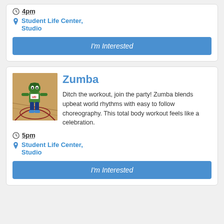4pm
Student Life Center, Studio
I'm Interested
[Figure (photo): A costumed mascot character standing on a basketball court gymnasium floor]
Zumba
Ditch the workout, join the party! Zumba blends upbeat world rhythms with easy to follow choreography. This total body workout feels like a celebration.
5pm
Student Life Center, Studio
I'm Interested